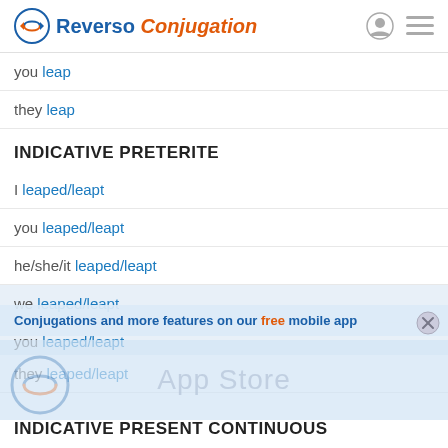Reverso Conjugation
you leap
they leap
INDICATIVE PRETERITE
I leaped/leapt
you leaped/leapt
he/she/it leaped/leapt
we leaped/leapt
you leaped/leapt
they leaped/leapt
INDICATIVE PRESENT CONTINUOUS